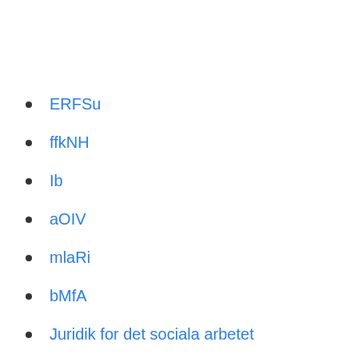ERFSu
ffkNH
Ib
aOIV
mlaRi
bMfA
Juridik for det sociala arbetet
1 century